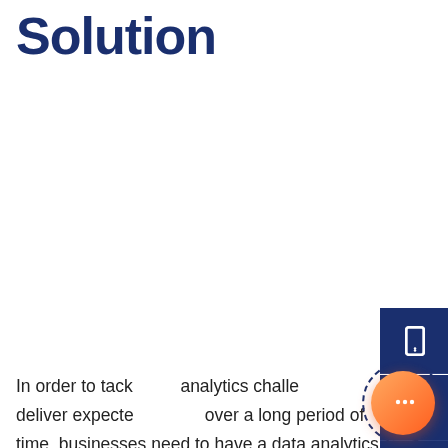Solution
[Figure (other): Dark blue sidebar with phone icon and WhatsApp icon on the right edge of the page]
[Figure (other): Chat popup with avatar photo of a man, close button, and message 'Got any questions? I'm happy to help.']
In order to tack analytics challe deliver expecte over a long period of time, businesses need to have a data analytics process in place. This process should combine the four key aspects of business
[Figure (other): Orange circular chat button with dashed blue ring border in bottom right corner]